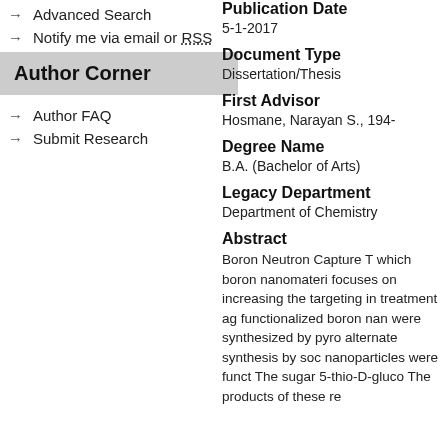→ Advanced Search
→ Notify me via email or RSS
Author Corner
→ Author FAQ
→ Submit Research
Publication Date
5-1-2017
Document Type
Dissertation/Thesis
First Advisor
Hosmane, Narayan S., 194-
Degree Name
B.A. (Bachelor of Arts)
Legacy Department
Department of Chemistry
Abstract
Boron Neutron Capture T which boron nanomateri focuses on increasing the targeting in treatment ag functionalized boron nan were synthesized by pyro alternate synthesis by soc nanoparticles were funct The sugar 5-thio-D-gluco The products of these re